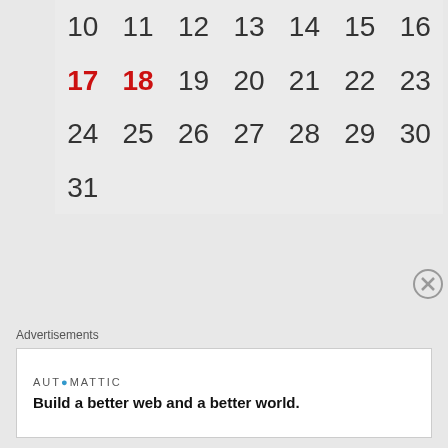| 10 | 11 | 12 | 13 | 14 | 15 | 16 |
| 17 | 18 | 19 | 20 | 21 | 22 | 23 |
| 24 | 25 | 26 | 27 | 28 | 29 | 30 |
| 31 |  |  |  |  |  |  |
« Dec   Feb »
Advertisements
AUTOMATTIC
Build a better web and a better world.